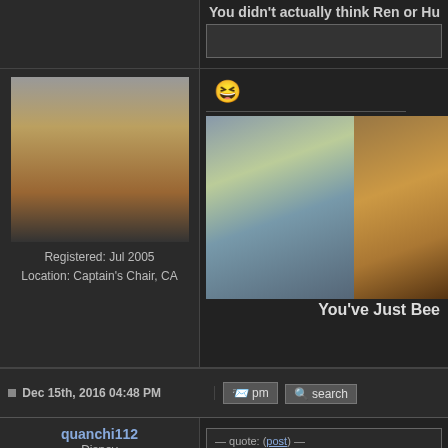[Figure (screenshot): Forum post layout with user avatar (Star Trek Kirk character), user info, emoji reaction, embedded meme image, post footer with timestamp and action buttons, and a second post by quanchi112 with Disney avatar and quote box]
You didn't actually think Ren or Hu
Registered: Jul 2005
Location: Captain's Chair, CA
[Figure (photo): Laughing/grinning emoji icon in teal/cyan color]
[Figure (photo): Embedded forum image: You've Just Been - Star Trek Kirk meme showing two images of Kirk]
You've Just Bee
Dec 15th, 2016 04:48 PM
pm   search
quanchi112
Disney
[Figure (logo): Walt Disney Pictures logo with castle silhouette]
quote: (post)
Originally posted by juggernaut74
You didn't actually think Ren or H
At points yes. Kylo succeeded in doing w listened to him. Palpatine wasn't that gr